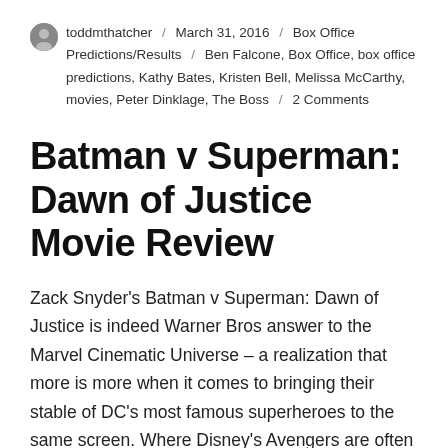toddmthatcher / March 31, 2016 / Box Office Predictions/Results / Ben Falcone, Box Office, box office predictions, Kathy Bates, Kristen Bell, Melissa McCarthy, movies, Peter Dinklage, The Boss / 2 Comments
Batman v Superman: Dawn of Justice Movie Review
Zack Snyder's Batman v Superman: Dawn of Justice is indeed Warner Bros answer to the Marvel Cinematic Universe – a realization that more is more when it comes to bringing their stable of DC's most famous superheroes to the same screen. Where Disney's Avengers are often considerably lighter in tone, these caped